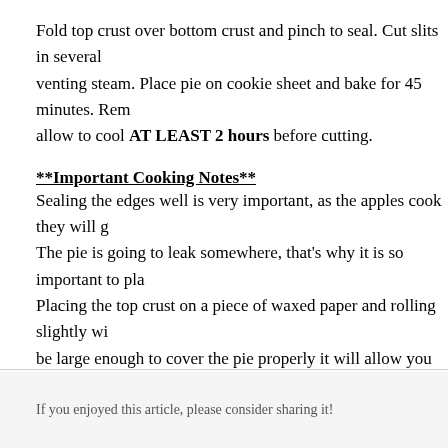Fold top crust over bottom crust and pinch to seal. Cut slits in several places for venting steam. Place pie on cookie sheet and bake for 45 minutes. Remove and allow to cool AT LEAST 2 hours before cutting.
**Important Cooking Notes**
Sealing the edges well is very important, as the apples cook they will g... The pie is going to leak somewhere, that's why it is so important to pla... Placing the top crust on a piece of waxed paper and rolling slightly wi... be large enough to cover the pie properly it will allow you to make yo... and when you get ready to place it on top just flip the waxed paper ove... the edges of your pie with foil after baking about 20 minutes to keep f... use edge protectors that can be purchased in the baking section of mos... Hope You Enjoy, Andy.
If you enjoyed this article, please consider sharing it!